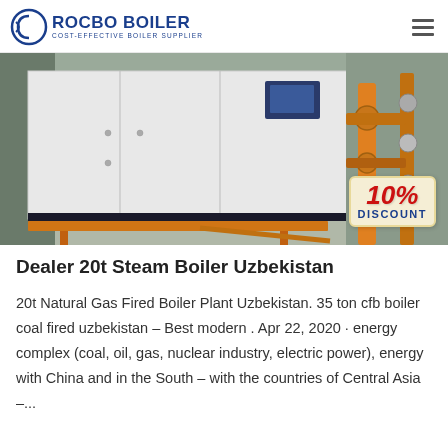ROCBO BOILER — COST-EFFECTIVE BOILER SUPPLIER
[Figure (photo): Industrial boiler unit installed in a facility room, white cabinet-style boiler with control panel, pipes and fittings visible on the right side, orange/yellow support structures on the floor. A '10% DISCOUNT' badge is overlaid in the bottom-right corner.]
Dealer 20t Steam Boiler Uzbekistan
20t Natural Gas Fired Boiler Plant Uzbekistan. 35 ton cfb boiler coal fired uzbekistan – Best modern . Apr 22, 2020 · energy complex (coal, oil, gas, nuclear industry, electric power), energy with China and in the South – with the countries of Central Asia –...